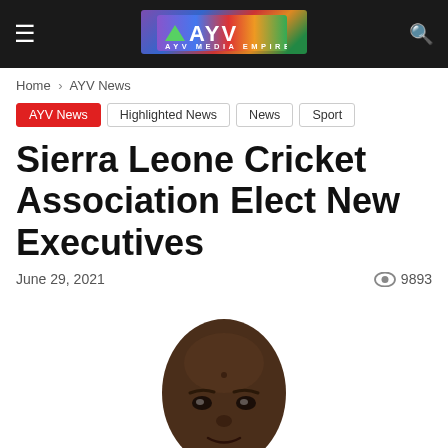AYV Media Empire
Home > AYV News
AYV News | Highlighted News | News | Sport
Sierra Leone Cricket Association Elect New Executives
June 29, 2021   9893
[Figure (photo): Head and shoulders photo of a man, cropped at top of page bottom]